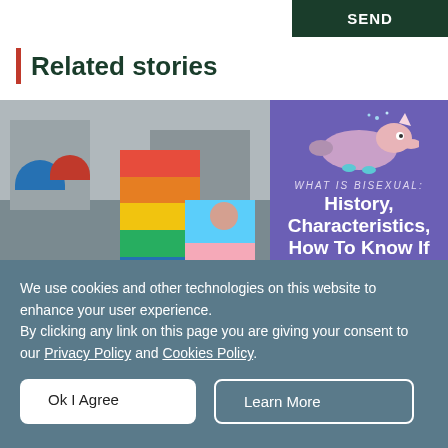SEND
Related stories
[Figure (photo): Person wearing a rainbow pride flag draped over shoulders, with another person in a pink/bisexual pride flag, at an outdoor event with buildings and umbrellas in background]
[Figure (infographic): Purple background infographic with a cartoon platypus-like creature and text: WHAT IS BISEXUAL: History, Characteristics, How To Know If You're Bisexual]
We use cookies and other technologies on this website to enhance your user experience. By clicking any link on this page you are giving your consent to our Privacy Policy and Cookies Policy.
Ok I Agree
Learn More